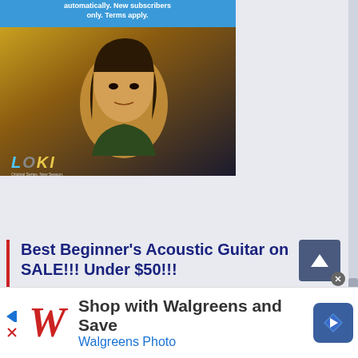[Figure (screenshot): Loki Marvel streaming ad banner with golden/dark background showing Loki character and blue streaming service banner at top reading 'automatically. New subscribers only. Terms apply.']
Best Beginner's Acoustic Guitar on SALE!!! Under $50!!!
[Figure (photo): Black acoustic guitar with accessories including guitar bag, clip-on digital tuner, guitar picks, and guitar strap]
[Figure (screenshot): Walgreens advertisement banner at bottom: 'Shop with Walgreens and Save / Walgreens Photo' with Walgreens cursive W logo and blue navigation arrow icon]